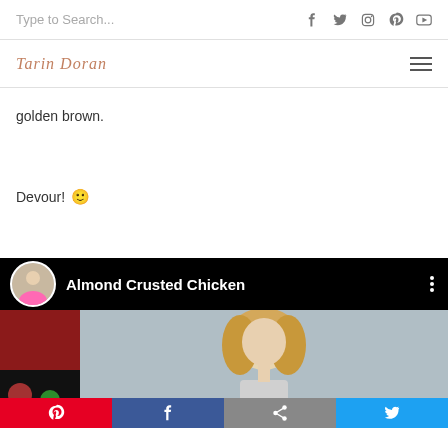Type to Search...
golden brown.
Devour! 🙂
[Figure (screenshot): Video thumbnail with black header bar showing a circular avatar of a blonde woman in pink, title 'Almond Crusted Chicken', and video image of a blonde woman below, with social share buttons at the bottom]